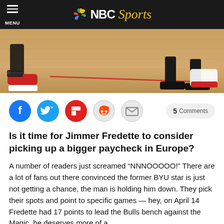NBC Sports
[Figure (photo): Basketball court floor close-up with players' feet and shoes visible, wooden hardwood floor with red line markings]
[Figure (infographic): Social sharing buttons: Facebook, Twitter, Flipboard, Reddit, Email, and a 5 Comments button]
Is it time for Jimmer Fredette to consider picking up a bigger paycheck in Europe?
A number of readers just screamed “NNNOOOOO!” There are a lot of fans out there convinced the former BYU star is just not getting a chance, the man is holding him down. They pick their spots and point to specific games — hey, on April 14 Fredette had 17 points to lead the Bulls bench against the Magic, he deserves more of a